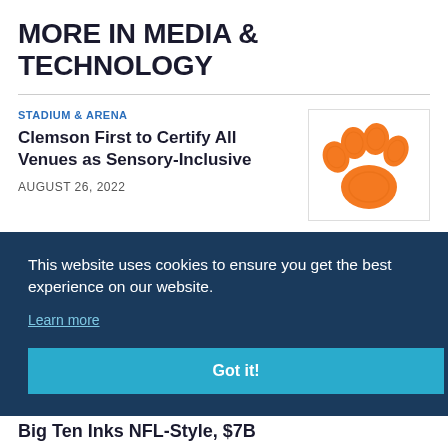MORE IN MEDIA & TECHNOLOGY
STADIUM & ARENA
Clemson First to Certify All Venues as Sensory-Inclusive
AUGUST 26, 2022
[Figure (logo): Clemson University orange tiger paw logo on white background]
This website uses cookies to ensure you get the best experience on our website.
Learn more
Got it!
Big Ten Inks NFL-Style, $7B